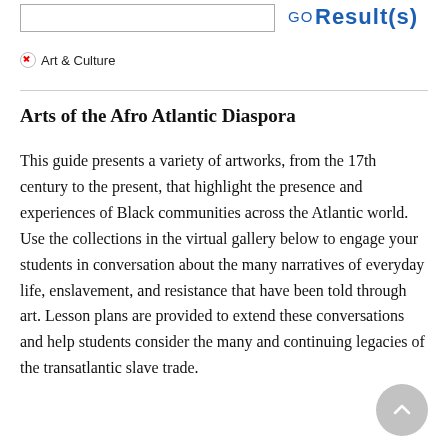GO Result(s)
× Art & Culture
Arts of the Afro Atlantic Diaspora
This guide presents a variety of artworks, from the 17th century to the present, that highlight the presence and experiences of Black communities across the Atlantic world. Use the collections in the virtual gallery below to engage your students in conversation about the many narratives of everyday life, enslavement, and resistance that have been told through art. Lesson plans are provided to extend these conversations and help students consider the many and continuing legacies of the transatlantic slave trade.